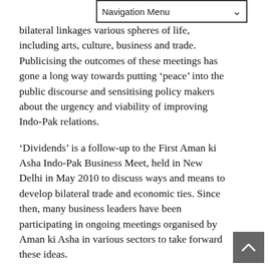Navigation Menu
bilateral linkages various spheres of life, including arts, culture, business and trade. Publicising the outcomes of these meetings has gone a long way towards putting ‘peace’ into the public discourse and sensitising policy makers about the urgency and viability of improving Indo-Pak relations.
‘Dividends’ is a follow-up to the First Aman ki Asha Indo-Pak Business Meet, held in New Delhi in May 2010 to discuss ways and means to develop bilateral trade and economic ties. Since then, many business leaders have been participating in ongoing meetings organised by Aman ki Asha in various sectors to take forward these ideas.
The forthcoming conference in Lahore is expected to further this